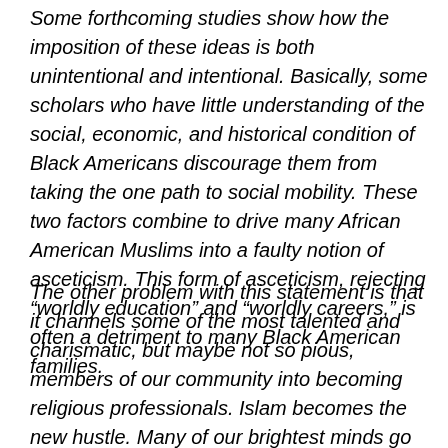Some forthcoming studies show how the imposition of these ideas is both unintentional and intentional. Basically, some scholars who have little understanding of the social, economic, and historical condition of Black Americans discourage them from taking the one path to social mobility. These two factors combine to drive many African American Muslims into a faulty notion of asceticism. This form of asceticism, rejecting “worldly education” and “worldly careers,” is often a detriment to many Black American families.
The other problem with this statement is that it channels some of the most talented and charismatic, but maybe not so pious, members of our community into becoming religious professionals. Islam becomes the new hustle. Many of our brightest minds go into careers such as imam, public speaker, religious scholars, or teacher at an Islamic